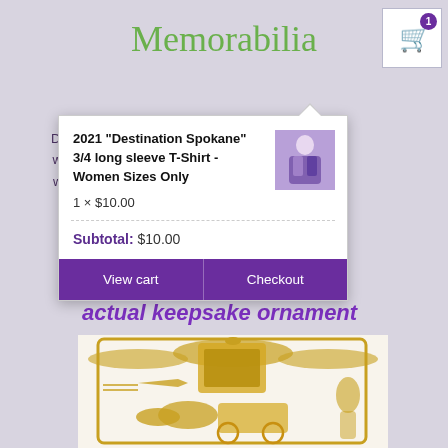Memorabilia
Did You Know? Our [product] was created and produced... was a labor of Lila[c]... and T[...]
[Figure (screenshot): Shopping cart popup overlay showing item '2021 "Destination Spokane" 3/4 long sleeve T-Shirt - Women Sizes Only', quantity 1 x $10.00, Subtotal $10.00, with View cart and Checkout buttons in purple]
actual keepsake ornament
[Figure (photo): Gold metal keepsake ornament featuring Spokane Lilac Festival imagery including horse-drawn carriage, lilac sprays, airplane, and parade figures in intricate gold metalwork]